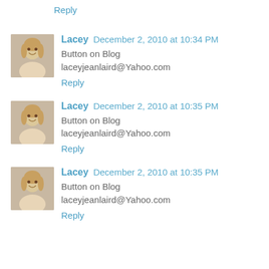Reply
Lacey  December 2, 2010 at 10:34 PM
Button on Blog
laceyjeanlaird@Yahoo.com
Reply
Lacey  December 2, 2010 at 10:35 PM
Button on Blog
laceyjeanlaird@Yahoo.com
Reply
Lacey  December 2, 2010 at 10:35 PM
Button on Blog
laceyjeanlaird@Yahoo.com
Reply